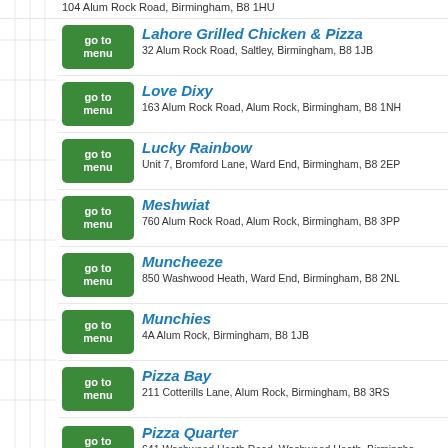104 Alum Rock Road, Birmingham, B8 1HU
Lahore Grilled Chicken & Pizza | 32 Alum Rock Road, Saltley, Birmingham, B8 1JB
Love Dixy | 163 Alum Rock Road, Alum Rock, Birmingham, B8 1NH
Lucky Rainbow | Unit 7, Bromford Lane, Ward End, Birmingham, B8 2EP
Meshwiat | 760 Alum Rock Road, Alum Rock, Birmingham, B8 3PP
Muncheeze | 850 Washwood Heath, Ward End, Birmingham, B8 2NL
Munchies | 4A Alum Rock, Birmingham, B8 1JB
Pizza Bay | 211 Cotterills Lane, Alum Rock, Birmingham, B8 3RS
Pizza Quarter | 641 Washwood Heath Road, Washwood Heath, Birmingham, 2HJ
Purbo Bagh | 886 Washwood Heath Road, Hodgehill, Birmingham, B8 ?
Rock 66 American Diner